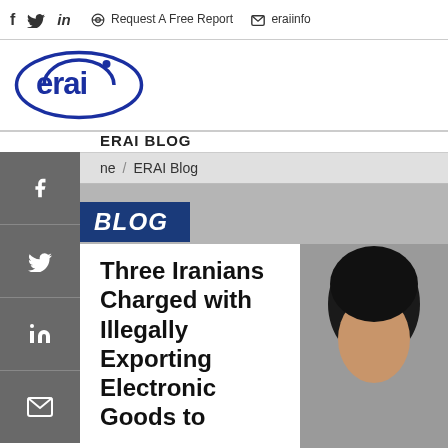f  in  Request A Free Report  eraiinfo
[Figure (logo): ERAI company logo — oval shape with 'erai' text in blue]
ERAI BLOG
ne / ERAI Blog
BLOG
Three Iranians Charged with Illegally Exporting Electronic Goods to
[Figure (photo): Partial photo of a person with dark hair, cropped, gray background]